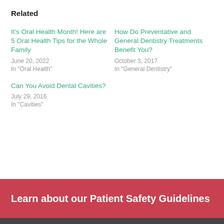Related
It's Oral Health Month! Here are 5 Oral Health Tips for the Whole Family
June 20, 2022
In "Oral Health"
How Do Preventative and General Dentistry Treatments Benefit You?
October 3, 2017
In "General Dentistry"
Can You Avoid Dental Cavities?
July 29, 2016
In "Cavities"
Learn about our Patient Safety Guidelines